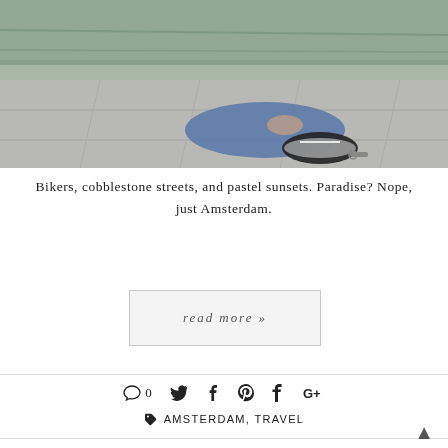[Figure (photo): Person sitting on stone pavement near water, wearing jeans and black Converse sneakers, adjusting shoe.]
Bikers, cobblestone streets, and pastel sunsets. Paradise? Nope, just Amsterdam.
read more »
0 (comment icon) Twitter Facebook Pinterest Tumblr Google+
♥ AMSTERDAM, TRAVEL
AN ODE TO BRUSSELS // TRAVEL DIARY 002